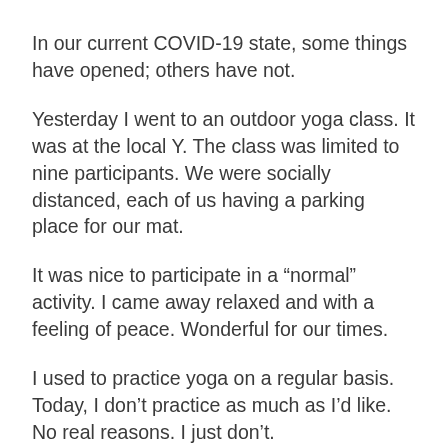In our current COVID-19 state, some things have opened; others have not.
Yesterday I went to an outdoor yoga class. It was at the local Y. The class was limited to nine participants. We were socially distanced, each of us having a parking place for our mat.
It was nice to participate in a “normal” activity. I came away relaxed and with a feeling of peace. Wonderful for our times.
I used to practice yoga on a regular basis. Today, I don’t practice as much as I’d like. No real reasons. I just don’t.
So what does this have to do with your creative arts business? Here